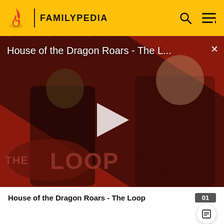FAMILYPEDIA
[Figure (screenshot): Video thumbnail for 'House of the Dragon Roars - The L...' showing two characters from the show against a diagonal red and black striped background with 'THE LOOP' branding and a play button overlay]
House of the Dragon Roars - The Loop
In the UK, area codes were first known as subscriber trunk dialling (STD) codes. Depending on local dialing plans,